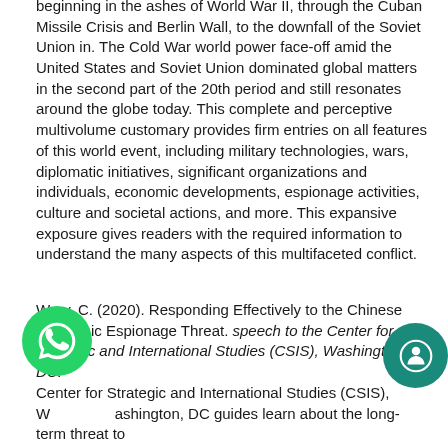beginning in the ashes of World War II, through the Cuban Missile Crisis and Berlin Wall, to the downfall of the Soviet Union in. The Cold War world power face-off amid the United States and Soviet Union dominated global matters in the second part of the 20th period and still resonates around the globe today. This complete and perceptive multivolume customary provides firm entries on all features of this world event, including military technologies, wars, diplomatic initiatives, significant organizations and individuals, economic developments, espionage activities, culture and societal actions, and more. This expansive exposure gives readers with the required information to understand the many aspects of this multifaceted conflict.
Wray, C. (2020). Responding Effectively to the Chinese Economic Espionage Threat. speech to the Center for Strategic and International Studies (CSIS), Washington, DC.
Center for Strategic and International Studies (CSIS), Washington, DC guides learn about the long-term threat to United States intellectual and data, and economic vitality is economic espionage and counterintelligence threats from China. The author records speech of (CSIS) in